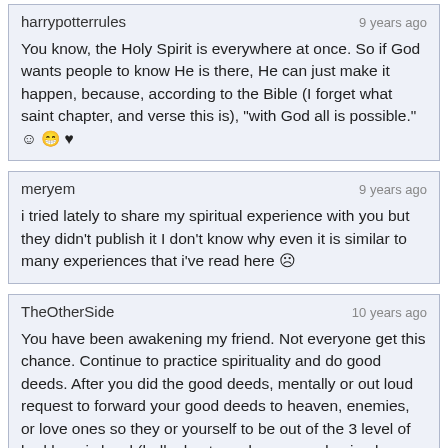harrypotterrules · 9 years ago
You know, the Holy Spirit is everywhere at once. So if God wants people to know He is there, He can just make it happen, because, according to the Bible (I forget what saint chapter, and verse this is), "with God all is possible." 🙂 😁 ♥
meryem · 9 years ago
i tried lately to share my spiritual experience with you but they didn't publish it I don't know why even it is similar to many experiences that i've read here 😞
TheOtherSide · 10 years ago
You have been awakening my friend. Not everyone get this chance. Continue to practice spirituality and do good deeds. After you did the good deeds, mentally or out loud request to forward your good deeds to heaven, enemies, or love ones so they or yourself to be out of the 3 level of bad karmic level (hell, ghosts or demons and animal reincarnation). If you forward your good deeds to your enemies, you will die easy (little to no pain and could request to die any day you please once its time). If not, you will suffer from an illness for example, stroke, cancer,